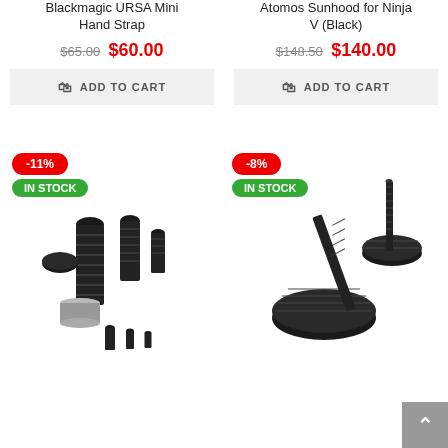Blackmagic URSA Mini Hand Strap
$65.00 $60.00
ADD TO CART
Atomos Sunhood for Ninja V (Black)
$148.50 $140.00
ADD TO CART
[Figure (photo): Multiple black camera screws and thumb screws assorted set with -11% discount badge and IN STOCK badge]
[Figure (photo): Black thumb screw / knurled screw set with -8% discount badge and IN STOCK badge]